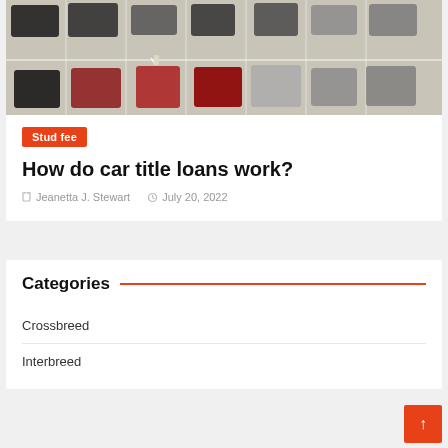[Figure (photo): Aerial view of a parking lot with multiple cars parked in spaces, viewed from above at an angle]
Stud fee
How do car title loans work?
Jeanetta J. Stewart   July 20, 2022
Categories
Crossbreed
Interbreed